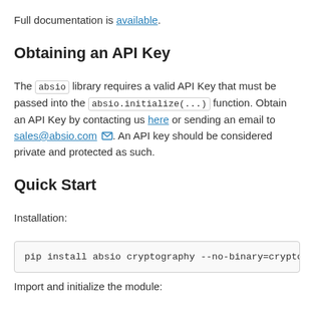Full documentation is available.
Obtaining an API Key
The absio library requires a valid API Key that must be passed into the absio.initialize(...) function. Obtain an API Key by contacting us here or sending an email to sales@absio.com. An API key should be considered private and protected as such.
Quick Start
Installation:
pip install absio cryptography --no-binary=cryptog
Import and initialize the module: